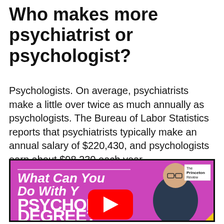Who makes more psychiatrist or psychologist?
Psychologists. On average, psychiatrists make a little over twice as much annually as psychologists. The Bureau of Labor Statistics reports that psychiatrists typically make an annual salary of $220,430, and psychologists earn about $98,230 each year.
[Figure (screenshot): YouTube video thumbnail with purple/pink background showing a man in a dark sweater and glasses. Text reads 'What Can You Do With Your PSYCHOLOGY DEGREE?' with a YouTube play button overlay. The Princeton Review logo is in the top right corner.]